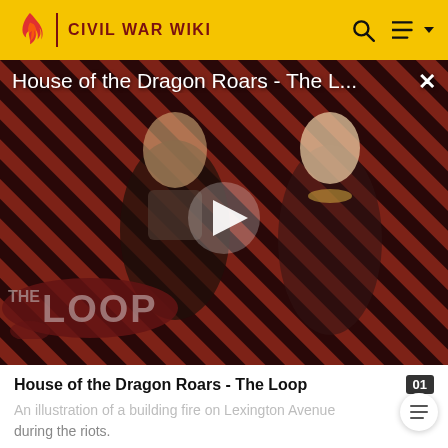CIVIL WAR WIKI
[Figure (screenshot): Video thumbnail for 'House of the Dragon Roars - The L...' showing two characters against a red diagonal striped background with a play button and 'THE LOOP' badge overlay. A close (X) button is in the top right.]
House of the Dragon Roars - The Loop
An illustration of a building fire on Lexington Avenue during the riots.
As the war dragged on, a military manpower shortage